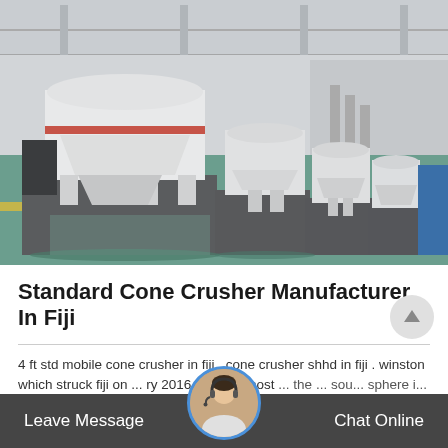[Figure (photo): Industrial factory floor showing a row of large white cone crushers / VSI sand-making machines lined up inside a large industrial warehouse with green painted floor and yellow striped safety line.]
Standard Cone Crusher Manufacturer In Fiji
4 ft std mobile cone crusher in fiji . cone crusher shhd in fiji . winston which struck fiji on ... ry 2016 was the most ... the ... sou... sphere i... billed ... and
Leave Message   Chat Online